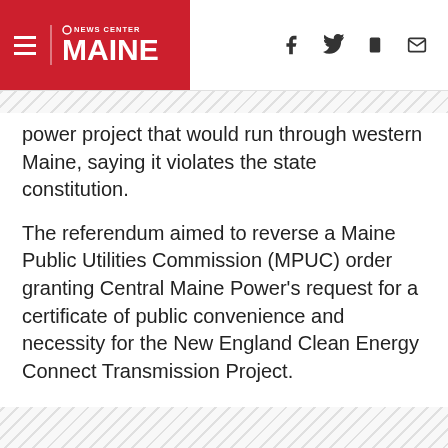NEWS CENTER MAINE
power project that would run through western Maine, saying it violates the state constitution.
The referendum aimed to reverse a Maine Public Utilities Commission (MPUC) order granting Central Maine Power's request for a certificate of public convenience and necessity for the New England Clean Energy Connect Transmission Project.
The project seeks to bring hyrdo-power from Canda through Maine to be distributed throughout New England. Proponents say it would create jobs and save Mainers' money on energy. Opponents say the project would have a negative impact on Maine's environment.